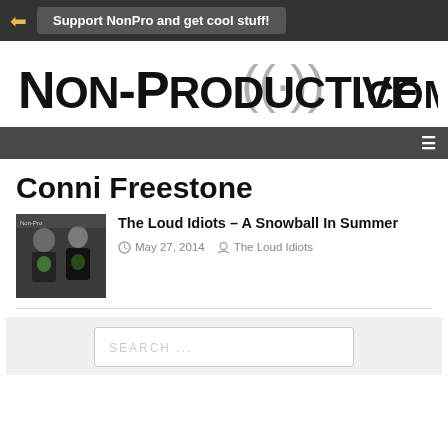Support NonPro and get cool stuff!
[Figure (logo): Non-Productive.com logo with radio signal icon]
Conni Freestone
[Figure (photo): Two people posing in front of a Non-Productive.com banner]
The Loud Idiots – A Snowball In Summer
May 27, 2014   The Loud Idiots
SEARCH ...